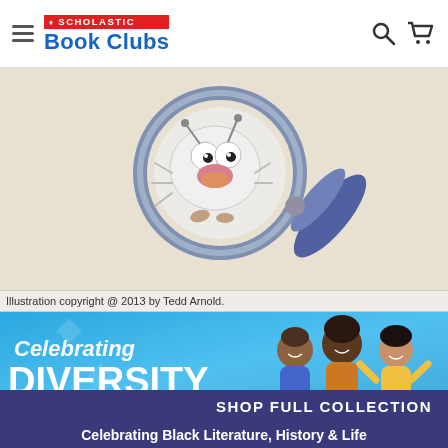SCHOLASTIC Book Clubs
[Figure (illustration): Cartoon illustration of a bug character viewed through a magnifying glass, on a beige/tan background. Art by Tedd Arnold.]
Illustration copyright @ 2013 by Tedd Arnold.
[Figure (infographic): Celebrating Diversity banner with blue background showing three illustrated children of diverse backgrounds, with text 'Celebrating DIVERSITY' and 'SHOP FULL COLLECTION' button]
Celebrating Black Literature, History & Life